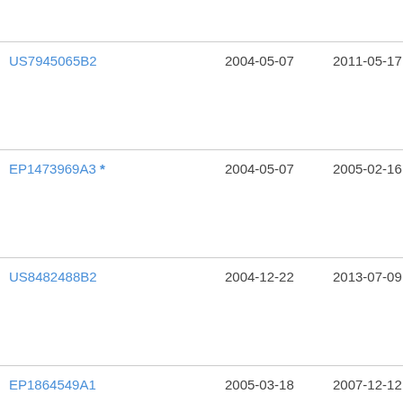| Patent ID | Filing Date | Publication Date | Lim... Par... |
| --- | --- | --- | --- |
| US7945065B2 | 2004-05-07 | 2011-05-17 | Pho... |
| EP1473969A3 * | 2004-05-07 | 2005-02-16 | Pho... |
| US8482488B2 | 2004-12-22 | 2013-07-09 | Oal... |
| EP1864549A1 | 2005-03-18 | 2007-12-12 | Wid... |
| ... | 2005-... | 2011-... | ... |